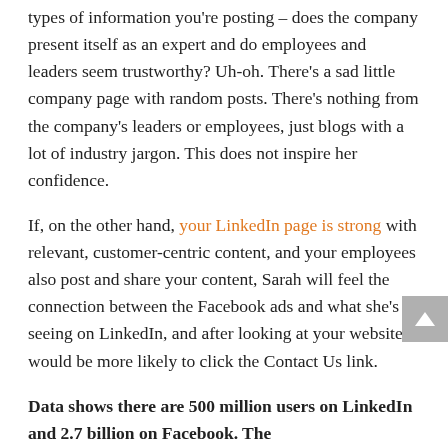types of information you're posting – does the company present itself as an expert and do employees and leaders seem trustworthy? Uh-oh. There's a sad little company page with random posts. There's nothing from the company's leaders or employees, just blogs with a lot of industry jargon. This does not inspire her confidence.
If, on the other hand, your LinkedIn page is strong with relevant, customer-centric content, and your employees also post and share your content, Sarah will feel the connection between the Facebook ads and what she's seeing on LinkedIn, and after looking at your website, would be more likely to click the Contact Us link.
Data shows there are 500 million users on LinkedIn and 2.7 billion on Facebook. The